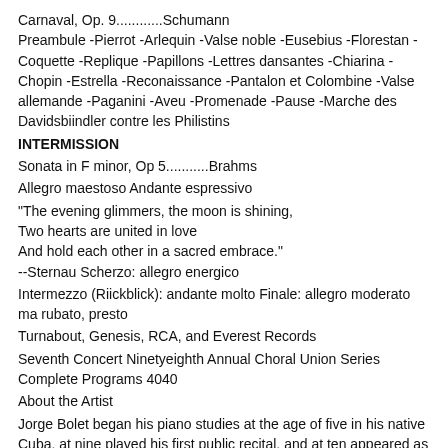Carnaval, Op. 9............Schumann
Preambule -Pierrot -Arlequin -Valse noble -Eusebius -Florestan -Coquette -Replique -Papillons -Lettres dansantes -Chiarina -Chopin -Estrella -Reconaissance -Pantalon et Colombine -Valse allemande -Paganini -Aveu -Promenade -Pause -Marche des Davidsbiindler contre les Philistins
INTERMISSION
Sonata in F minor, Op 5...........Brahms
Allegro maestoso Andante espressivo
"The evening glimmers, the moon is shining,
Two hearts are united in love
And hold each other in a sacred embrace."
--Sternau Scherzo: allegro energico
Intermezzo (Riickblick): andante molto Finale: allegro moderato ma rubato, presto
Turnabout, Genesis, RCA, and Everest Records
Seventh Concert Ninetyeighth Annual Choral Union Series Complete Programs 4040
About the Artist
Jorge Bolet began his piano studies at the age of five in his native Cuba, at nine played his first public recital, and at ten appeared as soloist with the Havana Sinfonica. A scholarship took him to the Curtis Institute of Music in Philadelphia where he performed as soloist at age sixteen in Carnegie Hall with the